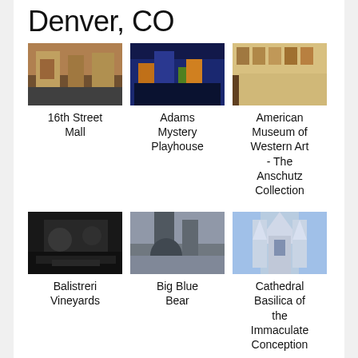Denver, CO
[Figure (photo): Storefront photo of 16th Street Mall, Denver]
16th Street Mall
[Figure (photo): Colorful nighttime exterior of Adams Mystery Playhouse]
Adams Mystery Playhouse
[Figure (photo): Interior gallery view of American Museum of Western Art - The Anschutz Collection]
American Museum of Western Art - The Anschutz Collection
[Figure (photo): Dark interior photo of Balistreri Vineyards]
Balistreri Vineyards
[Figure (photo): Urban sculpture of Big Blue Bear at convention center]
Big Blue Bear
[Figure (photo): Gothic architecture of Cathedral Basilica of the Immaculate Conception]
Cathedral Basilica of the Immaculate Conception
[Figure (photo): Partial view of another Denver attraction (cropped at bottom)]
[Figure (photo): Partial view of another Denver attraction (cropped at bottom)]
[Figure (photo): Partial view of another Denver attraction (cropped at bottom)]